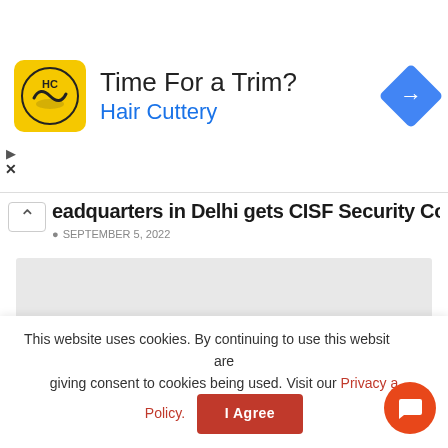[Figure (screenshot): Hair Cuttery advertisement banner with yellow logo, title 'Time For a Trim?' and blue 'Hair Cuttery' subtitle, blue diamond arrow icon on right]
cadquarters in Delhi gets CISF Security Cover
SEPTEMBER 5, 2022
[Figure (photo): Gray placeholder image block]
This website uses cookies. By continuing to use this website you are giving consent to cookies being used. Visit our Privacy and Cookie Policy.
I Agree